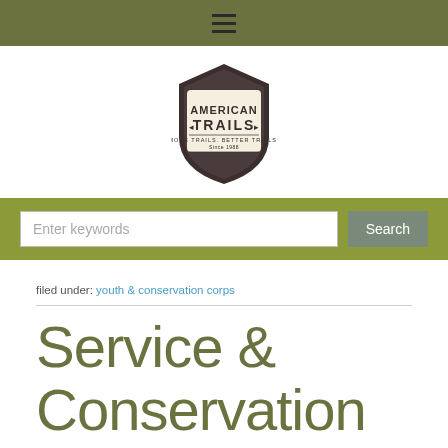[Figure (logo): American Trails logo - shield shape with AMERICAN TRAILS text and tagline MORE TRAILS. BETTER TRAILS. Since 1988]
filed under: youth & conservation corps
Service & Conservation